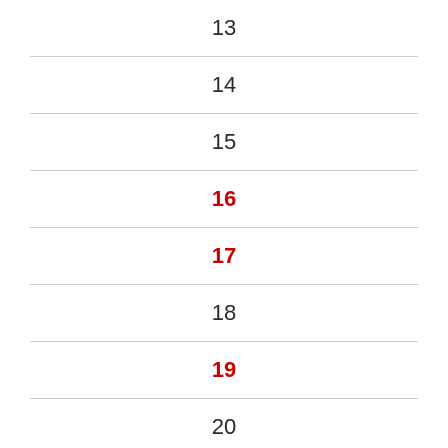| 13 |
| 14 |
| 15 |
| 16 |
| 17 |
| 18 |
| 19 |
| 20 |